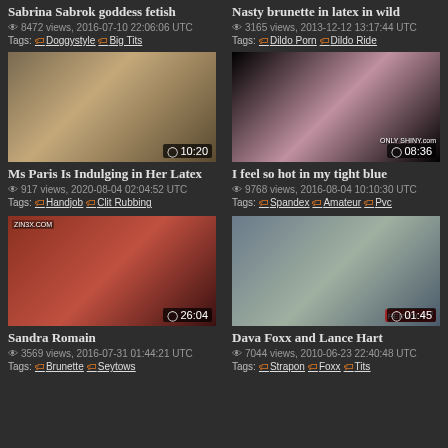Sabrina Sabrok goddess fetish
8472 views, 2016-07-10 22:06:06 UTC
Tags: Doggystyle Big Tits
Nasty brunette in latex in wild
3165 views, 2013-12-12 13:17:44 UTC
Tags: Dildo Porn Dildo Ride
[Figure (photo): Blonde woman video thumbnail, duration 10:20]
Ms Paris Is Indulging in Her Latex
917 views, 2020-08-04 02:04:52 UTC
Tags: Handjob Clit Rubbing
[Figure (photo): Woman in pink outfit video thumbnail, duration 08:36, ONLY SHINY.com watermark]
I feel so hot in my tight blue
9768 views, 2016-08-04 10:10:30 UTC
Tags: Spandex Amateur Pvc
[Figure (photo): Video thumbnail ZIN3X.COM watermark, duration 26:04]
Sandra Romain
3569 views, 2016-07-31 01:44:21 UTC
Tags: Brunette Seytows
[Figure (photo): Woman in teal dress video thumbnail, PERVOUT watermark, duration 01:45]
Dava Foxx and Lance Hart
7044 views, 2010-06-23 22:40:48 UTC
Tags: Strapon Foxx Tits